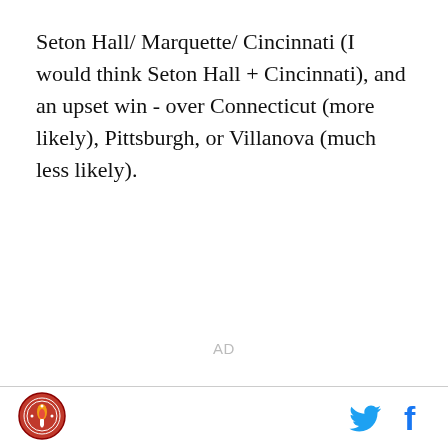Seton Hall/ Marquette/ Cincinnati (I would think Seton Hall + Cincinnati), and an upset win - over Connecticut (more likely), Pittsburgh, or Villanova (much less likely).
AD
[Figure (logo): Circular sports team logo with red and white design, located in the bottom-left footer]
[Figure (infographic): Twitter bird icon in blue and Facebook 'f' icon in blue, located in the bottom-right footer]